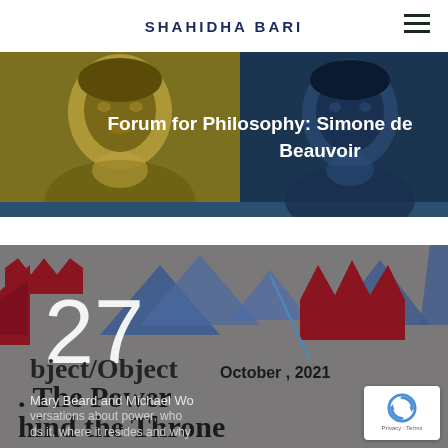SHAHIDHA BARI
[Figure (illustration): Two-panel banner illustration: left panel shows a stylized portrait of a person on olive/dark yellow background; right panel shows a stylized portrait of Simone de Beauvoir on dark teal/navy background. White text overlay reads 'Forum for Philosophy: Simone de Beauvoir'.]
[Figure (illustration): Event card with grey background featuring abstract geometric shapes (blue triangles, dark red crown shapes). Large white '27' numeral overlapping text. Text reads 'bject/Object', 'October, 2021', 'The Power Behind the Throne', 'Mary Beard and Michael W[olf]', 'versations about power, who holds it, where it resides and why'.]